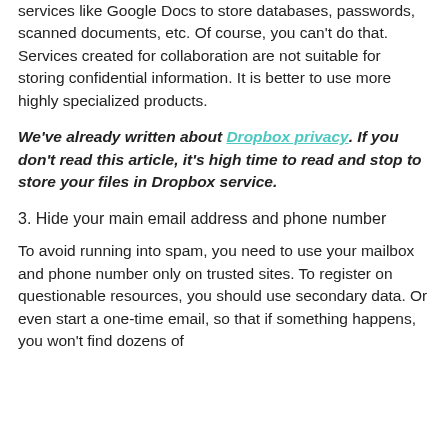services like Google Docs to store databases, passwords, scanned documents, etc. Of course, you can't do that. Services created for collaboration are not suitable for storing confidential information. It is better to use more highly specialized products.
We've already written about Dropbox privacy. If you don't read this article, it's high time to read and stop to store your files in Dropbox service.
3. Hide your main email address and phone number
To avoid running into spam, you need to use your mailbox and phone number only on trusted sites. To register on questionable resources, you should use secondary data. Or even start a one-time email, so that if something happens, you won't find dozens of